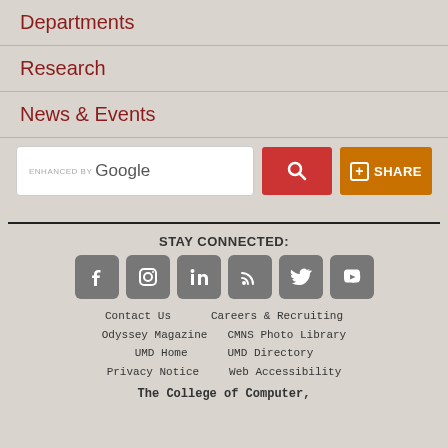Departments
Research
News & Events
[Figure (screenshot): Google search bar with red search button and orange SHARE button]
STAY CONNECTED:
[Figure (other): Social media icons: Facebook, Instagram, LinkedIn, RSS, Twitter, YouTube]
Contact Us   Careers & Recruiting
Odyssey Magazine   CMNS Photo Library
UMD Home   UMD Directory
Privacy Notice   Web Accessibility
The College of Computer,